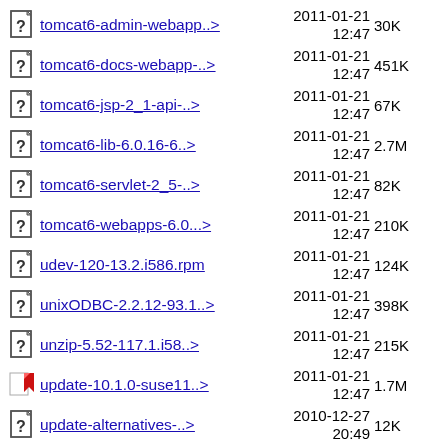tomcat6-admin-webapp..> 2011-01-21 12:47 30K
tomcat6-docs-webapp-..> 2011-01-21 12:47 451K
tomcat6-jsp-2_1-api-..> 2011-01-21 12:47 67K
tomcat6-lib-6.0.16-6..> 2011-01-21 12:47 2.7M
tomcat6-servlet-2_5-..> 2011-01-21 12:47 82K
tomcat6-webapps-6.0...> 2011-01-21 12:47 210K
udev-120-13.2.i586.rpm 2011-01-21 12:47 124K
unixODBC-2.2.12-93.1..> 2011-01-21 12:47 398K
unzip-5.52-117.1.i58..> 2011-01-21 12:47 215K
update-10.1.0-suse11..> 2011-01-21 12:47 1.7M
update-alternatives-..> 2010-12-27 20:49 12K